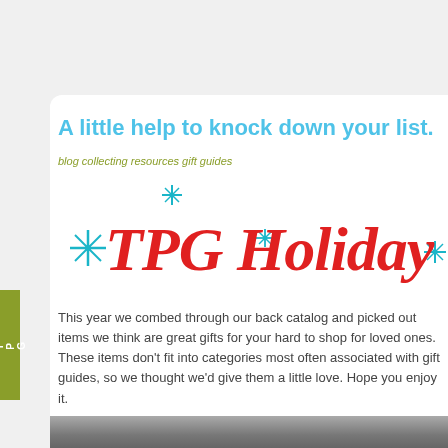A little help to knock down your list.
blog collecting resources gift guides
[Figure (logo): TPG Holiday Gift Guide logo in red cursive handwriting with teal/cyan star decorations]
This year we combed through our back catalog and picked out items we think are great gifts for your hard to shop for loved ones. These items don't fit into categories most often associated with gift guides, so we thought we'd give them a little love. Hope you enjoy it.
[Figure (photo): Photo strip at the bottom of the page showing a grey stone or brick surface]